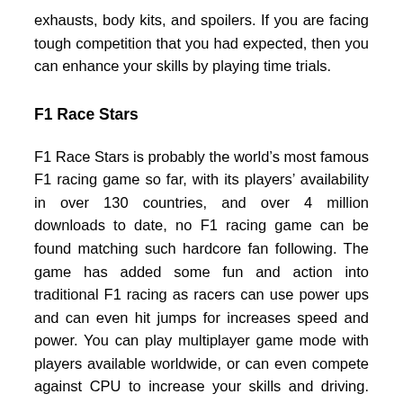exhausts, body kits, and spoilers. If you are facing tough competition that you had expected, then you can enhance your skills by playing time trials.
F1 Race Stars
F1 Race Stars is probably the world's most famous F1 racing game so far, with its players' availability in over 130 countries, and over 4 million downloads to date, no F1 racing game can be found matching such hardcore fan following. The game has added some fun and action into traditional F1 racing as racers can use power ups and can even hit jumps for increases speed and power. You can play multiplayer game mode with players available worldwide, or can even compete against CPU to increase your skills and driving. The game has really amazing over 15 action packed tracks on unique locations from Chine to all the way USA. The...